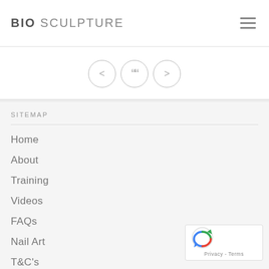BIO SCULPTURE
[Figure (other): Carousel navigation controls: left arrow circle, double-quote circle, right arrow circle]
SITEMAP
Home
About
Training
Videos
FAQs
Nail Art
T&C's
Privacy Policy